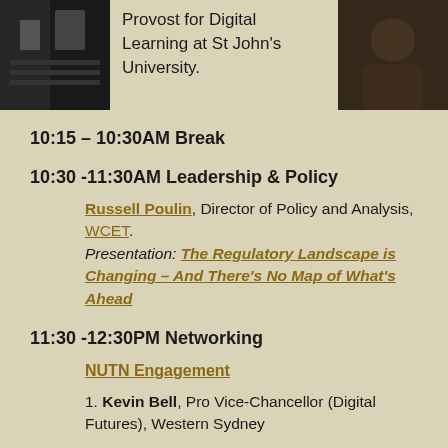[Figure (photo): Black and white photo of a person, left side]
Provost for Digital Learning at St John's University.
[Figure (photo): Color photo of a person, right side]
10:15 – 10:30AM Break
10:30 -11:30AM Leadership & Policy
Russell Poulin, Director of Policy and Analysis, WCET. Presentation: The Regulatory Landscape is Changing – And There's No Map of What's Ahead
11:30 -12:30PM Networking
NUTN Engagement
1. Kevin Bell, Pro Vice-Chancellor (Digital Futures), Western Sydney